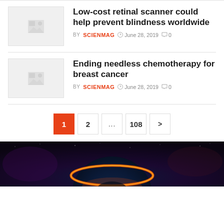[Figure (illustration): Placeholder thumbnail image for article 1]
Low-cost retinal scanner could help prevent blindness worldwide
BY SCIENMAG  June 28, 2019  0
[Figure (illustration): Placeholder thumbnail image for article 2]
Ending needless chemotherapy for breast cancer
BY SCIENMAG  June 28, 2019  0
1  2  ...  108  >
[Figure (photo): Dark space/cosmic image with glowing orange arc over a planet-like sphere, deep purple and blue tones]